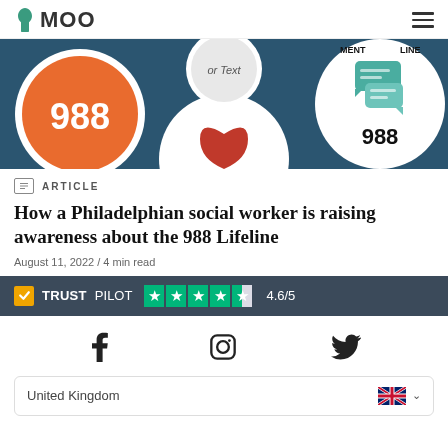MOO
[Figure (illustration): Hero image showing circular badges/buttons related to the 988 mental health Lifeline on a dark blue background. Visible elements include an orange circle with '988', a circle with 'or Text', and a white circle with a chat bubble graphic and '988' text, and partial red heart motif.]
ARTICLE
How a Philadelphian social worker is raising awareness about the 988 Lifeline
August 11, 2022 / 4 min read
TRUSTPILOT ★★★★✩ 4.6/5
[Figure (logo): Social media icons: Facebook, Instagram, Twitter]
United Kingdom